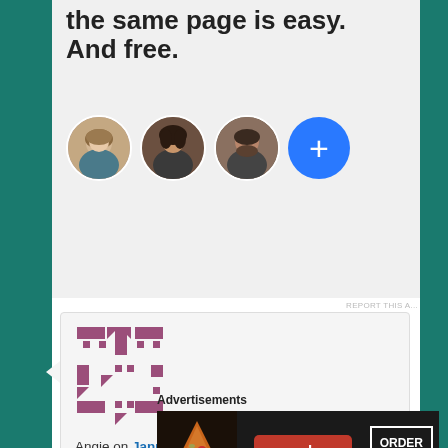the same page is easy. And free.
[Figure (illustration): Three circular profile photo avatars and a blue circle with a plus sign, representing team members]
REPORT THIS A...
[Figure (logo): Decorative geometric logo in pink/mauve color made of rectangles, triangles and dot patterns]
Angie on January 6, 2022 at 7:47 am said:
I watched Natyam and loved it. It's not a perfect movie but when was the last time we
Advertisements
[Figure (screenshot): Seamless food delivery advertisement banner with pizza image, seamless logo and ORDER NOW button]